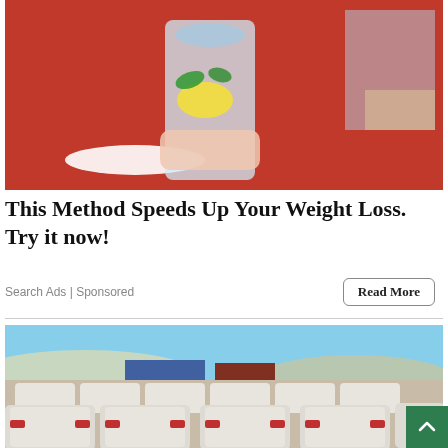[Figure (photo): Person in red outfit holding a large clear pitcher with lemon and mint water/drink]
This Method Speeds Up Your Weight Loss. Try it now!
Search Ads | Sponsored
[Figure (photo): Large parking lot filled with rows of white cars, aerial/elevated view, blue sky and buildings in background]